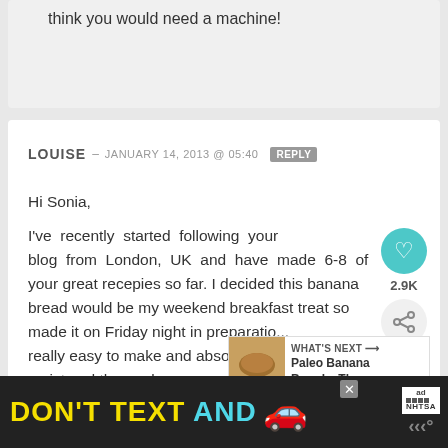think you would need a machine!
LOUISE — JANUARY 14, 2013 @ 05:40  REPLY
Hi Sonia,

I've recently started following your blog from London, UK and have made 6-8 of your great recepies so far. I decided this banana bread would be my weekend breakfast treat so made it on Friday night in preparation… really easy to make and absolutely bea… moist and the applesauce gave it just the right
[Figure (screenshot): Social share widget with heart icon showing 2.9K and share icon]
[Figure (screenshot): What's Next widget showing Paleo Banana Bread thumbnail and title]
[Figure (screenshot): Advertisement banner: DON'T TEXT AND [car emoji], ad badge, close button, NHTSA logo]